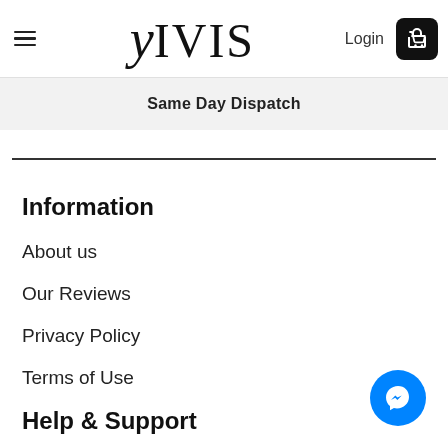YIVIS | Login | Cart
Same Day Dispatch
Information
About us
Our Reviews
Privacy Policy
Terms of Use
Help & Support